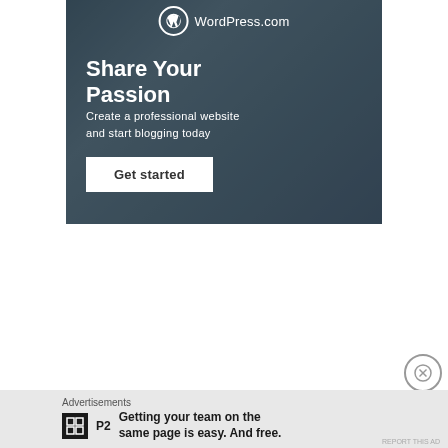[Figure (infographic): WordPress.com advertisement banner showing 'Share Your Passion' with subtext 'Create a professional website and start blogging today' and a 'Get started' button, overlaid on a dark photo background]
Advertisements
[Figure (infographic): P2 logo (black square with grid icon) followed by text 'Getting your team on the same page is easy. And free.']